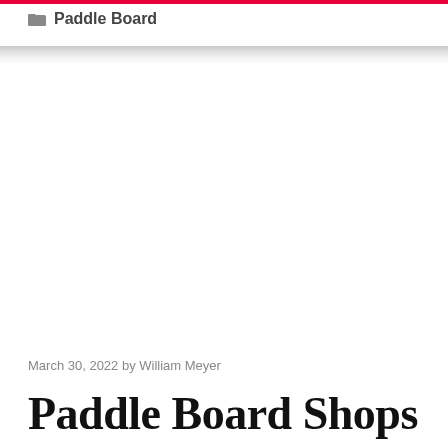Paddle Board
March 30, 2022 by William Meyer
Paddle Board Shops